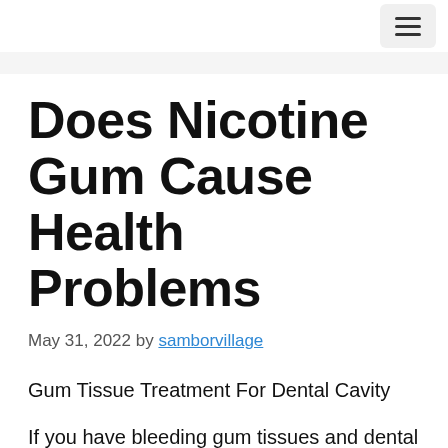≡ (menu button)
Does Nicotine Gum Cause Health Problems
May 31, 2022 by samborvillage
Gum Tissue Treatment For Dental Cavity
If you have bleeding gum tissues and dental